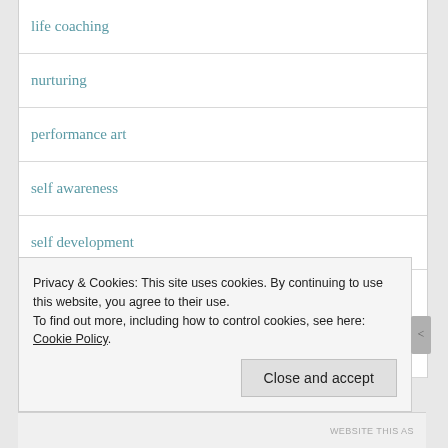life coaching
nurturing
performance art
self awareness
self development
special offer
Uncategorized
Privacy & Cookies: This site uses cookies. By continuing to use this website, you agree to their use.
To find out more, including how to control cookies, see here: Cookie Policy
WEBSITE THIS AS